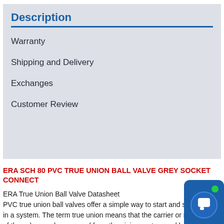Description
Warranty
Shipping and Delivery
Exchanges
Customer Review
ERA SCH 80 PVC TRUE UNION BALL VALVE GREY SOCKET CONNECT
ERA True Union Ball Valve Datasheet
PVC true union ball valves offer a simple way to start and s... in a system. The term true union means that the carrier or main part of the valve can be removed from the piping system and be either